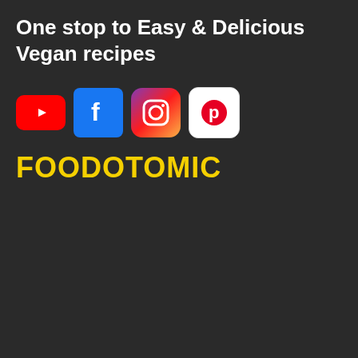One stop to Easy & Delicious Vegan recipes
[Figure (logo): Social media icons: YouTube (red), Facebook (blue), Instagram (gradient), Pinterest (white/red). Brand name FOODOTOMIC in yellow bold text on dark background.]
deposit in the UK. And the last but not the least important factor the simplicity of going to the best online casino apps iPhone you just need to open the app and dive into a completely new exciting reality that allows you to have a good time and get money benefits, cashman casino free coins. dont't wait for long join today! Completing the CAPTCHA proves you are a human and gives you temporary access to the web property. What can I do to prevent this in the future, vegas2web no deposit bonus 2022.